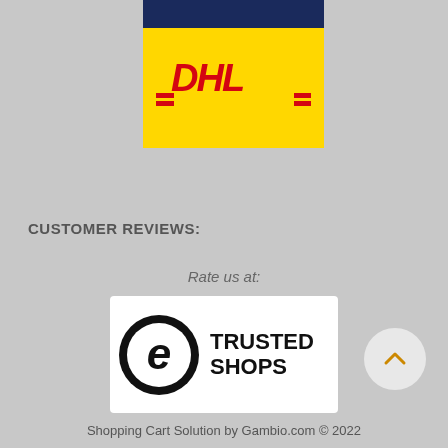[Figure (logo): DHL logo on yellow background with dark navy bar on top]
CUSTOMER REVIEWS:
Rate us at:
[Figure (logo): Trusted Shops logo with black circle e icon and TRUSTED SHOPS text]
Shopping Cart Solution by Gambio.com © 2022